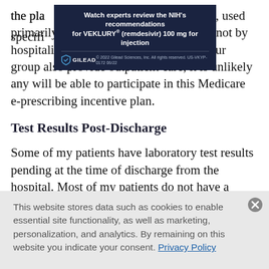the pla...d to specifi...(T) codes, used primarily by primary care providers and not by hospitalists. Unless the hospitalists in your group also provide outpatient care, it is unlikely any will be able to participate in this Medicare e-prescribing incentive plan.
[Figure (other): Gilead advertisement banner: 'Watch experts review the NIH's recommendations for VEKLURY® (remdesivir) 100 mg for injection'. Gilead logo and copyright 2022 Gilead Sciences, Inc. All rights reserved. US-VKYP-0172 06/22]
Test Results Post-Discharge
Some of my patients have laboratory test results pending at the time of discharge from the hospital. Most of my patients do not have a routine outpatient provider. At the time of discharge, I
This website stores data such as cookies to enable essential site functionality, as well as marketing, personalization, and analytics. By remaining on this website you indicate your consent. Privacy Policy